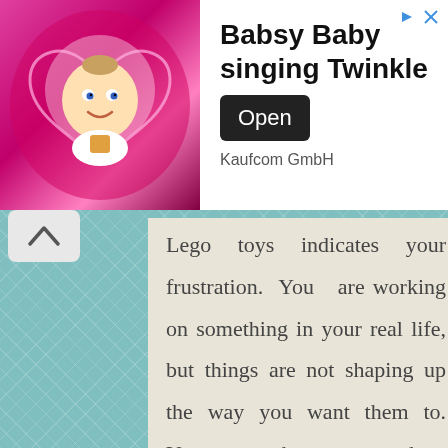[Figure (screenshot): Mobile app advertisement banner for 'Babsy Baby singing Twinkle' by Kaufcom GmbH, showing an animated baby character on a pink glowing background, with an Open button and navigation arrows.]
Lego toys indicates your frustration. You are working on something in your real life, but things are not shaping up the way you want them to. You have done everything that any person could ever do for the current work, but